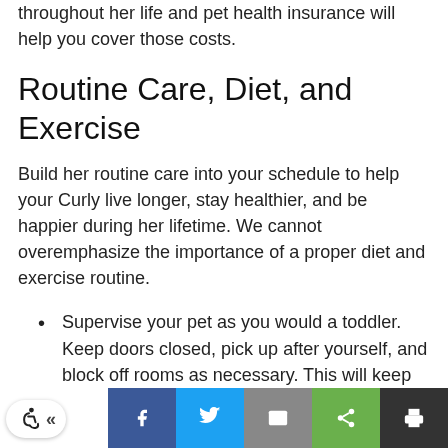throughout her life and pet health insurance will help you cover those costs.
Routine Care, Diet, and Exercise
Build her routine care into your schedule to help your Curly live longer, stay healthier, and be happier during her lifetime. We cannot overemphasize the importance of a proper diet and exercise routine.
Supervise your pet as you would a toddler. Keep doors closed, pick up after yourself, and block off rooms as necessary. This will keep her out of trouble and away from objects she
Accessibility | Facebook | Twitter | Email | Share | Print